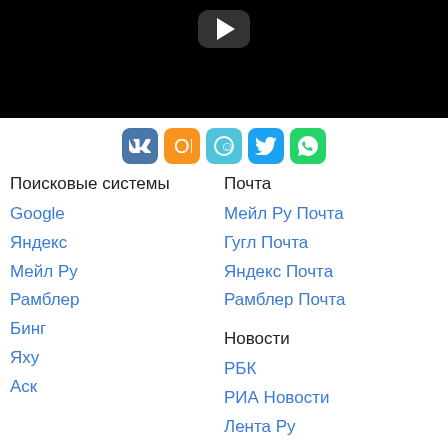[Figure (screenshot): Video player with black background and play button]
[Figure (infographic): Row of social sharing icon buttons: VK (blue), OK (orange), face icon (cyan), Twitter (blue), WhatsApp (green)]
Поисковые системы
Google
Яндекс
Мейл Ру
Рамблер
Бинг
Яху
Аск
Почта
Мейл Ру Почта
Гугл Почта
Яндекс Почта
Рамблер Почта
Новости
РБК
РИА Новости
Лента Ру
Яндекс Новости
Закон KZ
Социальные сети
ВКонтакте
Фейсбук
Одноклассники